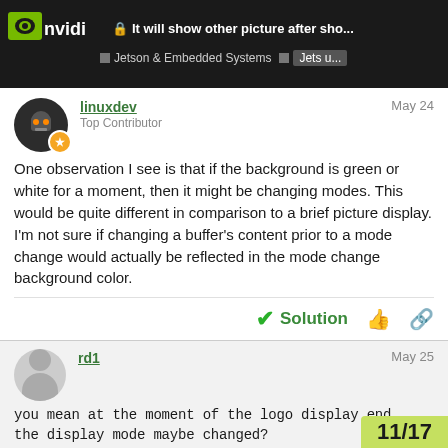It will show other picture after sho... | Jetson & Embedded Systems | Jets u...
linuxdev
Top Contributor
May 24
One observation I see is that if the background is green or white for a moment, then it might be changing modes. This would be quite different in comparison to a brief picture display. I'm not sure if changing a buffer's content prior to a mode change would actually be reflected in the mode change background color.
Solution
rd1
May 25
you mean at the moment of the logo display end , the display mode maybe changed?
11/17